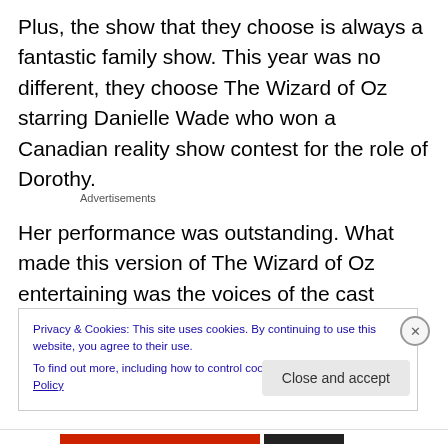Plus, the show that they choose is always a fantastic family show. This year was no different, they choose The Wizard of Oz starring Danielle Wade who won a Canadian reality show contest for the role of Dorothy.
Advertisements
Her performance was outstanding. What made this version of The Wizard of Oz entertaining was the voices of the cast members, they could really belt a tune. Plus, the
Privacy & Cookies: This site uses cookies. By continuing to use this website, you agree to their use.
To find out more, including how to control cookies, see here: Cookie Policy
Close and accept